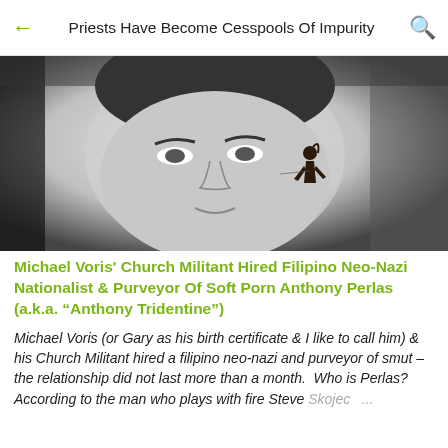Priests Have Become Cesspools Of Impurity
[Figure (photo): Black and white close-up photo of a man's face with a small dark figurine/toy near his ear]
Michael Voris' Church Militant Hired Filipino Neo-Nazi Nationalist & Purveyor Of Soft Porn Anthony Perlas (a.k.a. “Anthony Tridentine”)
Michael Voris (or Gary as his birth certificate & I like to call him) & his Church Militant hired a filipino neo-nazi and purveyor of smut – the relationship did not last more than a month. Who is Perlas? According to the man who plays with fire Steve Skojer ...